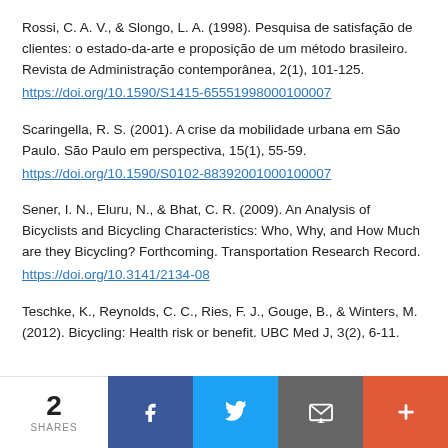Rossi, C. A. V., & Slongo, L. A. (1998). Pesquisa de satisfação de clientes: o estado-da-arte e proposição de um método brasileiro. Revista de Administração contemporânea, 2(1), 101-125. https://doi.org/10.1590/S14155655199800010000-7
Scaringella, R. S. (2001). A crise da mobilidade urbana em São Paulo. São Paulo em perspectiva, 15(1), 55-59. https://doi.org/10.1590/S0102-88392001000100007
Sener, I. N., Eluru, N., & Bhat, C. R. (2009). An Analysis of Bicyclists and Bicycling Characteristics: Who, Why, and How Much are they Bicycling? Forthcoming. Transportation Research Record. https://doi.org/10.3141/2134-08
Teschke, K., Reynolds, C. C., Ries, F. J., Gouge, B., & Winters, M. (2012). Bicycling: Health risk or benefit. UBC Med J, 3(2), 6-11.
2 SHARES | Social share buttons